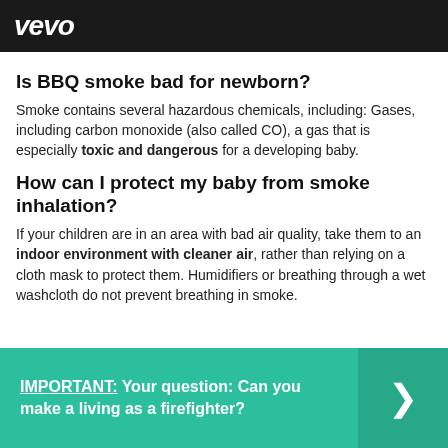[Figure (screenshot): Vevo banner with dark background showing the Vevo logo in white italic bold text, with partial image of a person visible]
Is BBQ smoke bad for newborn?
Smoke contains several hazardous chemicals, including: Gases, including carbon monoxide (also called CO), a gas that is especially toxic and dangerous for a developing baby.
How can I protect my baby from smoke inhalation?
If your children are in an area with bad air quality, take them to an indoor environment with cleaner air, rather than relying on a cloth mask to protect them. Humidifiers or breathing through a wet washcloth do not prevent breathing in smoke.
IMPORTANT: Your question: Can you make a living as a firefighter?